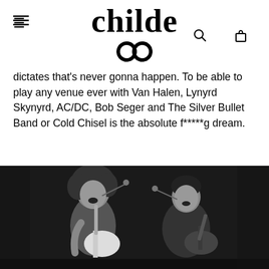childe
dictates that's never gonna happen. To be able to play any venue ever with Van Halen, Lynyrd Skynyrd, AC/DC, Bob Seger and The Silver Bullet Band or Cold Chisel is the absolute f*****g dream.
[Figure (photo): Black and white concert photo of two musicians performing on stage. Left musician has long curly hair, shirtless, singing into a microphone and playing a white electric guitar. Right musician has short dark hair, wearing a dark shirt, also singing and playing an electric guitar.]